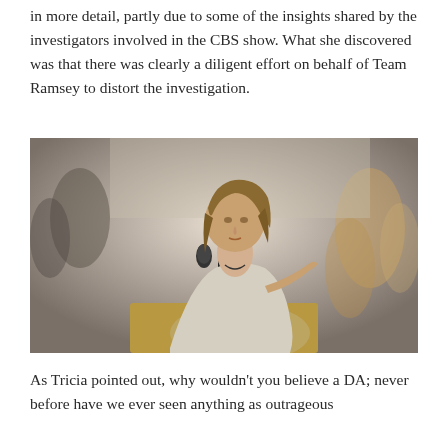in more detail, partly due to some of the insights shared by the investigators involved in the CBS show. What she discovered was that there was clearly a diligent effort on behalf of Team Ramsey to distort the investigation.
[Figure (photo): A woman with short brown hair wearing a light grey blazer stands at a podium with a microphone, pointing forward. A seal reading 'OF COL' (State of Colorado) is visible on the podium. The background shows a blurred crowd of people outdoors.]
As Tricia pointed out, why wouldn't you believe a DA; never before have we ever seen anything as outrageous